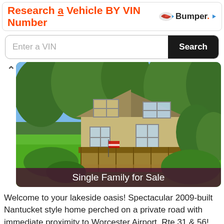Research a Vehicle BY VIN Number
[Figure (screenshot): Bumper logo with car icon]
Enter a VIN
Search
[Figure (photo): Single family home with green lawn, deck, and surrounding trees. Label: Single Family for Sale]
Welcome to your lakeside oasis! Spectacular 2009-built Nantucket style home perched on a private road with immediate proximity to Worcester Airport, Rte 31 & 56! Enjoy morning coffee & sunset...